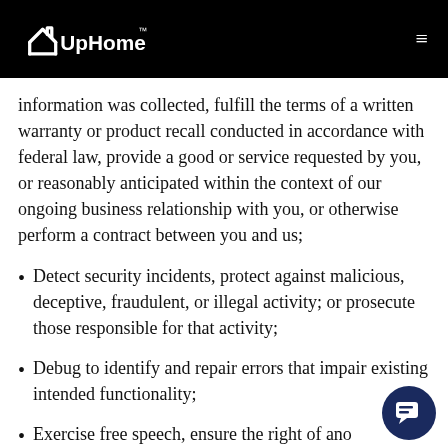UpHome™
information was collected, fulfill the terms of a written warranty or product recall conducted in accordance with federal law, provide a good or service requested by you, or reasonably anticipated within the context of our ongoing business relationship with you, or otherwise perform a contract between you and us;
Detect security incidents, protect against malicious, deceptive, fraudulent, or illegal activity; or prosecute those responsible for that activity;
Debug to identify and repair errors that impair existing intended functionality;
Exercise free speech, ensure the right of another consumer to exercise his or her right of free speech, or